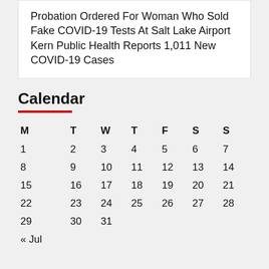Probation Ordered For Woman Who Sold Fake COVID-19 Tests At Salt Lake Airport
Kern Public Health Reports 1,011 New COVID-19 Cases
Calendar
| M | T | W | T | F | S | S |
| --- | --- | --- | --- | --- | --- | --- |
| 1 | 2 | 3 | 4 | 5 | 6 | 7 |
| 8 | 9 | 10 | 11 | 12 | 13 | 14 |
| 15 | 16 | 17 | 18 | 19 | 20 | 21 |
| 22 | 23 | 24 | 25 | 26 | 27 | 28 |
| 29 | 30 | 31 |  |  |  |  |
| « Jul |  |  |  |  |  |  |